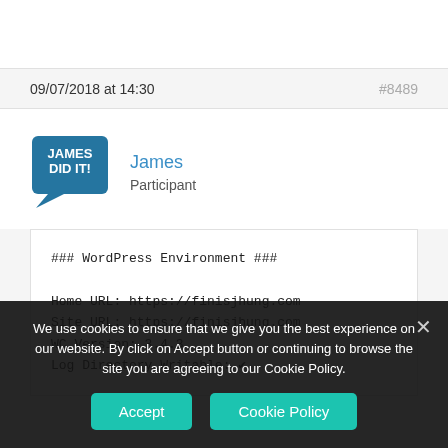09/07/2018 at 14:30
#8489
[Figure (logo): Blue speech bubble logo with white text 'JAMES DID IT!']
James
Participant
### WordPress Environment ###

Home URL: https://finisjhung.com
Site URL: https://finisjhung.com
WC Version: 3.4.3
Log Directory Writable: ✓
We use cookies to ensure that we give you the best experience on our website. By click on Accept button or continuing to browse the site you are agreeing to our Cookie Policy.
Accept
Cookie Policy